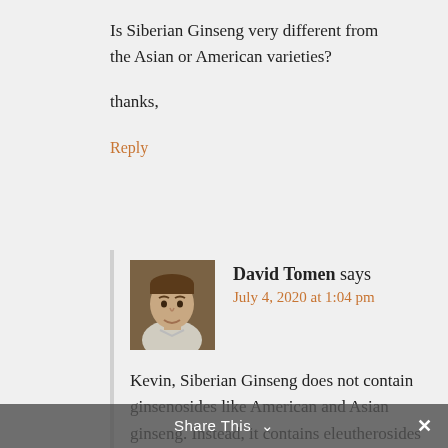Is Siberian Ginseng very different from the Asian or American varieties?

thanks,
Reply
David Tomen says
July 4, 2020 at 1:04 pm
Kevin, Siberian Ginseng does not contain ginsenosides like American and Asian ginseng. Instead, it contains eleutherosides which have a different mechanism of action. It has traditionally been used as an
Share This ∨   ✕